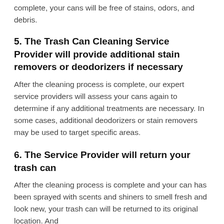complete, your cans will be free of stains, odors, and debris.
5. The Trash Can Cleaning Service Provider will provide additional stain removers or deodorizers if necessary
After the cleaning process is complete, our expert service providers will assess your cans again to determine if any additional treatments are necessary. In some cases, additional deodorizers or stain removers may be used to target specific areas.
6. The Service Provider will return your trash can
After the cleaning process is complete and your can has been sprayed with scents and shiners to smell fresh and look new, your trash can will be returned to its original location. And